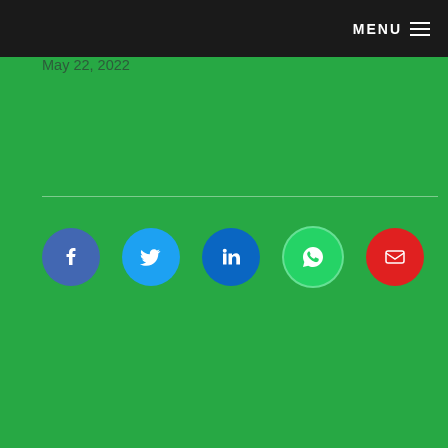MENU
May 22, 2022
[Figure (other): Social share icons row: Facebook (blue circle), Twitter (light blue circle), LinkedIn (dark blue circle), WhatsApp (green circle), Email (red circle)]